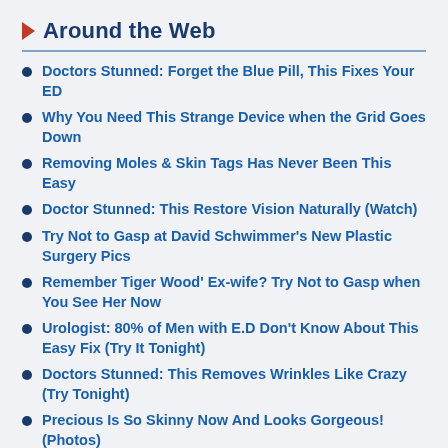Around the Web
Doctors Stunned: Forget the Blue Pill, This Fixes Your ED
Why You Need This Strange Device when the Grid Goes Down
Removing Moles & Skin Tags Has Never Been This Easy
Doctor Stunned: This Restore Vision Naturally (Watch)
Try Not to Gasp at David Schwimmer's New Plastic Surgery Pics
Remember Tiger Wood' Ex-wife? Try Not to Gasp when You See Her Now
Urologist: 80% of Men with E.D Don't Know About This Easy Fix (Try It Tonight)
Doctors Stunned: This Removes Wrinkles Like Crazy (Try Tonight)
Precious Is So Skinny Now And Looks Gorgeous! (Photos)
Dubai Photos That Will Make You Think Twice...